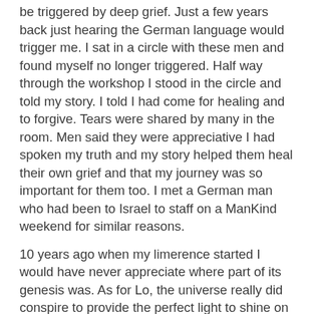be triggered by deep grief. Just a few years back just hearing the German language would trigger me. I sat in a circle with these men and found myself no longer triggered. Half way through the workshop I stood in the circle and told my story. I told I had come for healing and to forgive. Tears were shared by many in the room. Men said they were appreciative I had spoken my truth and my story helped them heal their own grief and that my journey was so important for them too. I met a German man who had been to Israel to staff on a ManKind weekend for similar reasons.
10 years ago when my limerence started I would have never appreciate where part of its genesis was. As for Lo, the universe really did conspire to provide the perfect light to shine on my shadow.